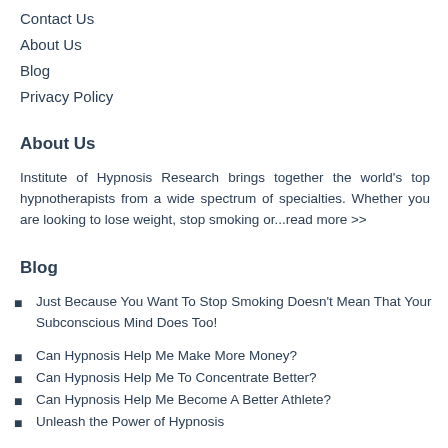Contact Us
About Us
Blog
Privacy Policy
About Us
Institute of Hypnosis Research brings together the world's top hypnotherapists from a wide spectrum of specialties. Whether you are looking to lose weight, stop smoking or...read more >>
Blog
Just Because You Want To Stop Smoking Doesn't Mean That Your Subconscious Mind Does Too!
Can Hypnosis Help Me Make More Money?
Can Hypnosis Help Me To Concentrate Better?
Can Hypnosis Help Me Become A Better Athlete?
Unleash the Power of Hypnosis